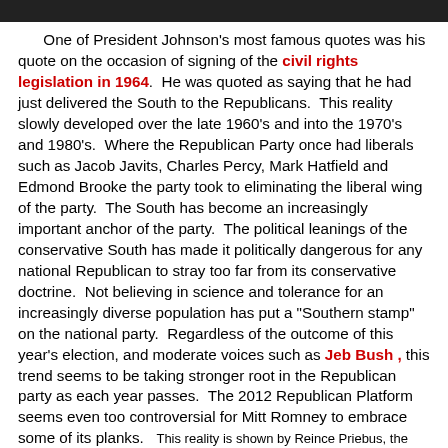[Figure (photo): Top portion of a photograph showing a person, cropped, serving as a page header image strip.]
One of President Johnson's most famous quotes was his quote on the occasion of signing of the civil rights legislation in 1964.  He was quoted as saying that he had just delivered the South to the Republicans.  This reality slowly developed over the late 1960's and into the 1970's and 1980's.  Where the Republican Party once had liberals such as Jacob Javits, Charles Percy, Mark Hatfield and Edmond Brooke the party took to eliminating the liberal wing of the party.  The South has become an increasingly important anchor of the party.  The political leanings of the conservative South has made it politically dangerous for any national Republican to stray too far from its conservative doctrine.  Not believing in science and tolerance for an increasingly diverse population has put a "Southern stamp" on the national party.  Regardless of the outcome of this year's election, and moderate voices such as Jeb Bush , this trend seems to be taking stronger root in the Republican party as each year passes.  The 2012 Republican Platform seems even too controversial for Mitt Romney to embrace some of its planks.   This reality is shown by Reince Priebus, the National Republican Party Chairman, saying that "This is the platform of